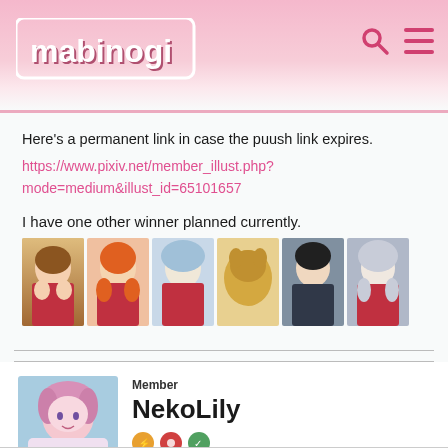Mabinogi
Here's a permanent link in case the puush link expires.
https://www.pixiv.net/member_illust.php?mode=medium&illust_id=65101657
I have one other winner planned currently.
[Figure (illustration): Row of 6 anime character thumbnail images from Mabinogi]
Member
NekoLily
Mabinogi Rep: 3,335
Posts: 314
SEPTEMBER 23, 2017